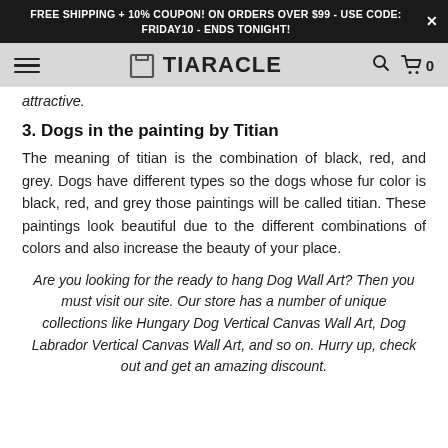FREE SHIPPING + 10% COUPON! ON ORDERS OVER $99 - USE CODE: FRIDAY10 - ENDS TONIGHT!
TIARACLE
attractive.
3. Dogs in the painting by Titian
The meaning of titian is the combination of black, red, and grey. Dogs have different types so the dogs whose fur color is black, red, and grey those paintings will be called titian. These paintings look beautiful due to the different combinations of colors and also increase the beauty of your place.
Are you looking for the ready to hang Dog Wall Art? Then you must visit our site. Our store has a number of unique collections like Hungary Dog Vertical Canvas Wall Art, Dog Labrador Vertical Canvas Wall Art, and so on. Hurry up, check out and get an amazing discount.